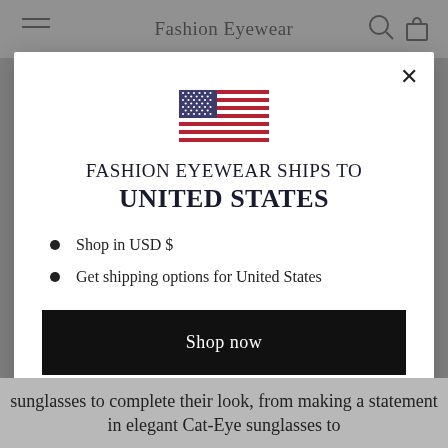Fashion Eyewear
[Figure (illustration): US flag SVG illustration shown inside modal dialog]
FASHION EYEWEAR SHIPS TO UNITED STATES
Shop in USD $
Get shipping options for United States
Shop now
Change shipping country
sunglasses to complete their look, from making a statement in elegant Cat-Eye sunglasses to